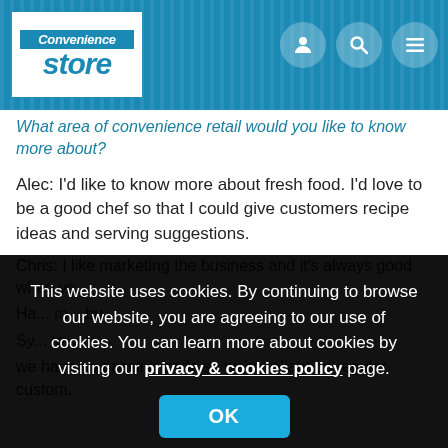[Figure (logo): Convenience Store magazine logo with blue background header containing user, search, and menu icons]
What area of convenience retail would you like to know more about?
Alec: I'd like to know more about fresh food. I'd love to be a good chef so that I could give customers recipe ideas and serving suggestions.
Chris: I like marketing the business and it's always good when yo...
Ha... m... bu...
Sy... to...
we have no passing trade so we're reliant on regular custom.
This website uses cookies. By continuing to browse our website, you are agreeing to our use of cookies. You can learn more about cookies by visiting our privacy & cookies policy page.